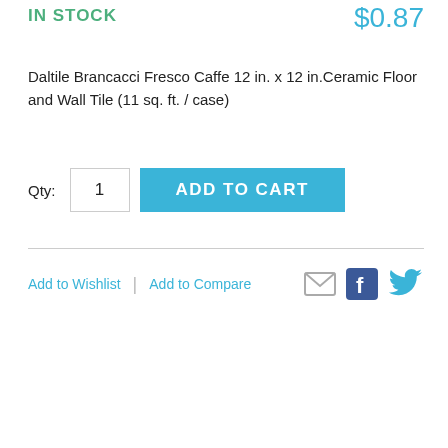IN STOCK
$0.87
Daltile Brancacci Fresco Caffe 12 in. x 12 in.Ceramic Floor and Wall Tile (11 sq. ft. / case)
Qty: 1  ADD TO CART
Add to Wishlist | Add to Compare